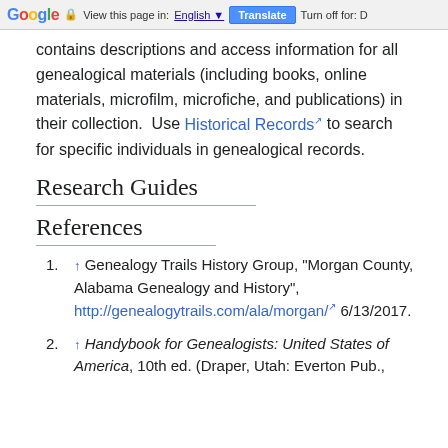Google | View this page in: English ▼ | Translate | Turn off for: D
contains descriptions and access information for all genealogical materials (including books, online materials, microfilm, microfiche, and publications) in their collection. Use Historical Records to search for specific individuals in genealogical records.
Research Guides
References
1. ↑ Genealogy Trails History Group, "Morgan County, Alabama Genealogy and History", http://genealogytrails.com/ala/morgan/ 6/13/2017.
2. ↑ Handybook for Genealogists: United States of America, 10th ed. (Draper, Utah: Everton Pub.,